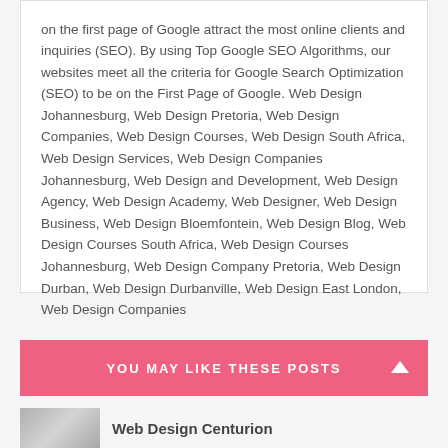on the first page of Google attract the most online clients and inquiries (SEO). By using Top Google SEO Algorithms, our websites meet all the criteria for Google Search Optimization (SEO) to be on the First Page of Google. Web Design Johannesburg, Web Design Pretoria, Web Design Companies, Web Design Courses, Web Design South Africa, Web Design Services, Web Design Companies Johannesburg, Web Design and Development, Web Design Agency, Web Design Academy, Web Designer, Web Design Business, Web Design Bloemfontein, Web Design Blog, Web Design Courses South Africa, Web Design Courses Johannesburg, Web Design Company Pretoria, Web Design Durban, Web Design Durbanville, Web Design East London, Web Design Companies
YOU MAY LIKE THESE POSTS
Web Design Centurion